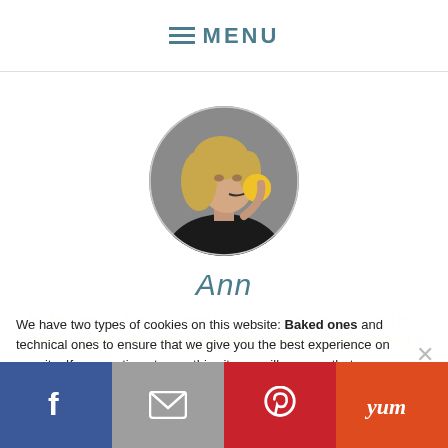≡ MENU
[Figure (photo): Circular profile photo of a woman (Ann) with blonde hair, biting into a yellow fruit, wearing a black top, against a grey background.]
Ann
Hi! My name is Ann and I food blog in my spare time. You will find yummy recipes here – all easy, delicious, nutritious and designed to
We have two types of cookies on this website: Baked ones and technical ones to ensure that we give you the best experience on our site. If you continue to use this site we will assume that you are happy with it.
Facebook | Email | Pinterest | Yum